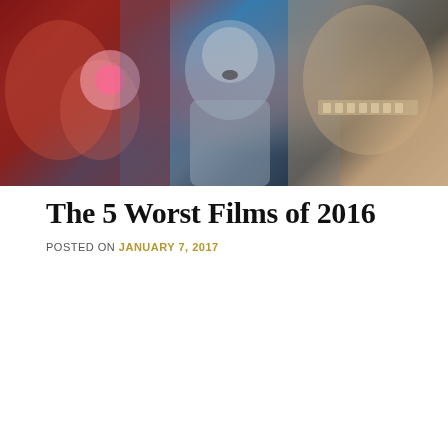[Figure (photo): Collage of movie scenes: colorful action scene on left, man in space suit in center, grotesque smiling face on right]
The 5 Worst Films of 2016
POSTED ON JANUARY 7, 2017
[Figure (photo): Movie promotional image showing Suicide Squad characters in dark monochrome style, with MOVIE REVIEWS badge overlay and comment icon showing 1 comment]